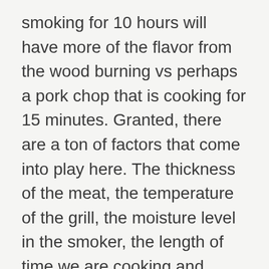smoking for 10 hours will have more of the flavor from the wood burning vs perhaps a pork chop that is cooking for 15 minutes. Granted, there are a ton of factors that come into play here. The thickness of the meat, the temperature of the grill, the moisture level in the smoker, the length of time we are cooking and many more. Can you just cook over charcoal with no additional wood added? Absolutely! At the end of the day, charcoal is actual wood and it will still provide plenty of flavor.